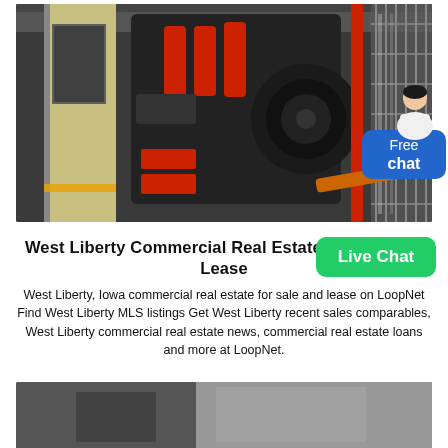[Figure (photo): Industrial machinery/equipment inside a factory or warehouse, showing large mechanical components with red cylinders, dark machinery, and a chain-link fence on the right side. A chat avatar and 'Free chat' button overlay the right side of the image.]
West Liberty Commercial Real Estate for Sale and Lease
West Liberty, Iowa commercial real estate for sale and lease on LoopNet Find West Liberty MLS listings Get West Liberty recent sales comparables, West Liberty commercial real estate news, commercial real estate loans and more at LoopNet.
[Figure (photo): Partial view of a second photo at the bottom of the page, showing a dark-toned image, appears to be another property or industrial scene.]